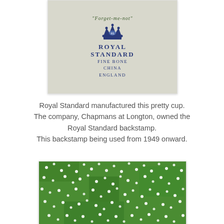[Figure (photo): Photo of Royal Standard Fine Bone China England backstamp on white ceramic, with a crown emblem and green cursive text above.]
Royal Standard manufactured this pretty cup. The company, Chapmans at Longton, owned the Royal Standard backstamp. This backstamp being used from 1949 onward.
[Figure (photo): Close-up photo of dense green foliage covered with small white flowers (forget-me-not or similar).]